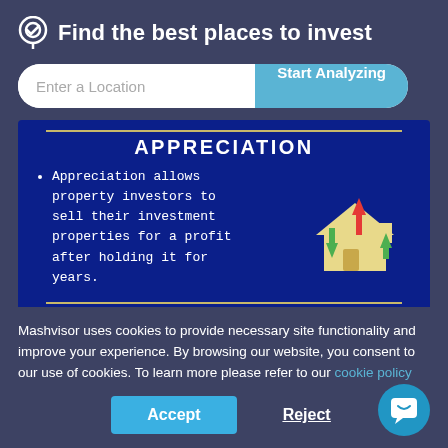Find the best places to invest
[Figure (screenshot): Search bar with 'Enter a Location' placeholder and 'Start Analyzing' button]
APPRECIATION
Appreciation allows property investors to sell their investment properties for a profit after holding it for years.
[Figure (illustration): House icon with upward arrows (red and green) indicating appreciation]
TAX BENEFITS / DEDUCTIONS
Mashvisor uses cookies to provide necessary site functionality and improve your experience. By browsing our website, you consent to our use of cookies. To learn more please refer to our cookie policy
Accept | Reject